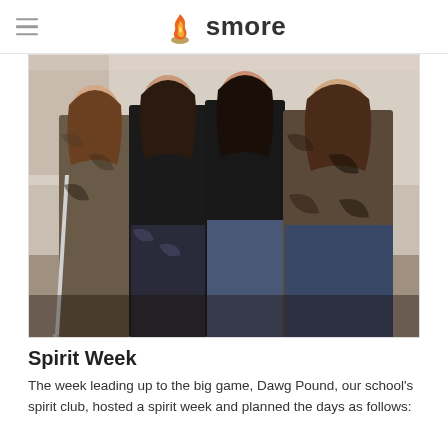smore
[Figure (photo): Four teenage girls standing together smiling, wearing camouflage patterned jackets/clothing and dark pants, posed in what appears to be a school hallway. One girl on the left is on crutches.]
Spirit Week
The week leading up to the big game, Dawg Pound, our school's spirit club, hosted a spirit week and planned the days as follows: